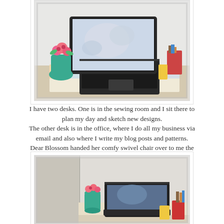[Figure (photo): A desk with a laptop open showing an image on screen, surrounded by colorful fabric swatches, a teal vase with pink flowers, and various craft supplies and organizers.]
I have two desks. One is in the sewing room and I sit there to plan my day and sketch new designs.
The other desk is in the office, where I do all my business via email and also where I write my blog posts and patterns.
Dear Blossom handed her comfy swivel chair over to me the other day and now it's a much nicer place to sit and work...
[Figure (photo): A second desk in an office cubicle with a laptop open, a teal mug with pink flowers, a red phone or device, and craft/office supplies.]